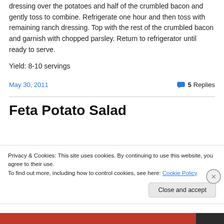dressing over the potatoes and half of the crumbled bacon and gently toss to combine. Refrigerate one hour and then toss with remaining ranch dressing. Top with the rest of the crumbled bacon and garnish with chopped parsley. Return to refrigerator until ready to serve.
Yield: 8-10 servings
May 30, 2011    5 Replies
Feta Potato Salad
Privacy & Cookies: This site uses cookies. By continuing to use this website, you agree to their use.
To find out more, including how to control cookies, see here: Cookie Policy
Close and accept